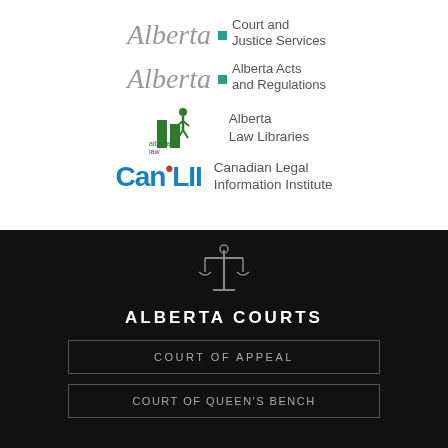[Figure (logo): Alberta Court and Justice Services logo with Alberta script and teal square]
[Figure (logo): Alberta Acts and Regulations logo with Alberta script and teal square]
[Figure (logo): Alberta Law Libraries logo with green figure and book icon]
[Figure (logo): CanLII - Canadian Legal Information Institute logo]
[Figure (illustration): Scales of justice icon in grey outline on black background]
ALBERTA COURTS
COURT OF APPEAL
COURT OF QUEEN'S BENCH